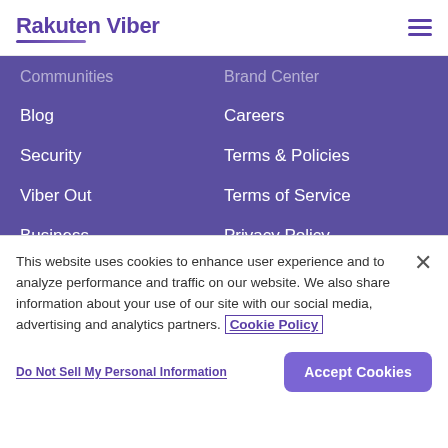Rakuten Viber
Communities
Blog
Security
Viber Out
Business
Support
Brand Center
Careers
Terms & Policies
Terms of Service
Privacy Policy
Ads Policy
CCPA Do Not Sell My Data
This website uses cookies to enhance user experience and to analyze performance and traffic on our website. We also share information about your use of our site with our social media, advertising and analytics partners. Cookie Policy
Do Not Sell My Personal Information
Accept Cookies